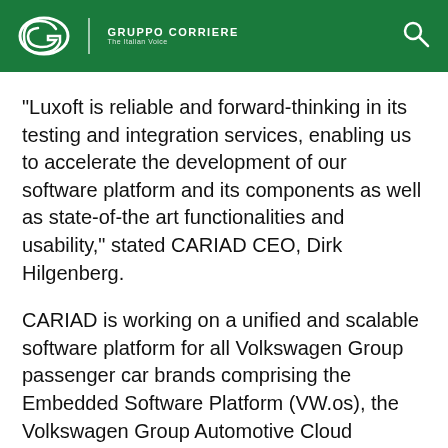Gruppo Corriere
"Luxoft is reliable and forward-thinking in its testing and integration services, enabling us to accelerate the development of our software platform and its components as well as state-of-the art functionalities and usability," stated CARIAD CEO, Dirk Hilgenberg.
CARIAD is working on a unified and scalable software platform for all Volkswagen Group passenger car brands comprising the Embedded Software Platform (VW.os), the Volkswagen Group Automotive Cloud (VW.AC), and Big Data services. The objective is to support the development of data-driven